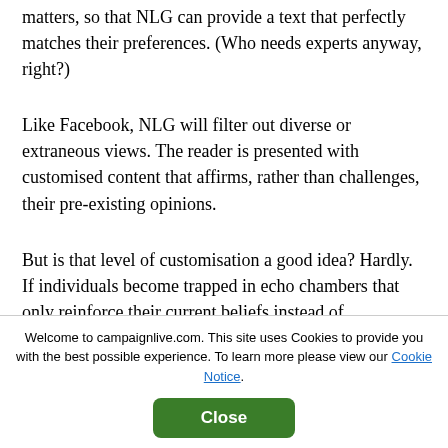matters, so that NLG can provide a text that perfectly matches their preferences. (Who needs experts anyway, right?)
Like Facebook, NLG will filter out diverse or extraneous views. The reader is presented with customised content that affirms, rather than challenges, their pre-existing opinions.
But is that level of customisation a good idea? Hardly. If individuals become trapped in echo chambers that only reinforce their current beliefs instead of challenging
As I write this, news has broken that during the 2016 US presidential election, Facebook worth more tha...
Welcome to campaignlive.com. This site uses Cookies to provide you with the best possible experience. To learn more please view our Cookie Notice.